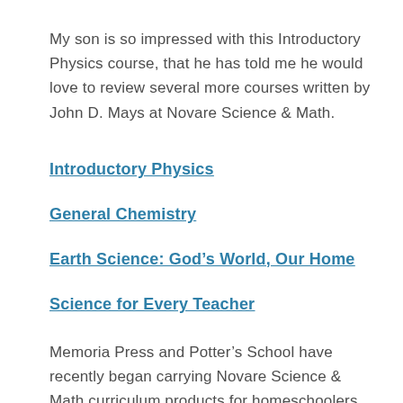My son is so impressed with this Introductory Physics course, that he has told me he would love to review several more courses written by John D. Mays at Novare Science & Math.
Introductory Physics
General Chemistry
Earth Science: God's World, Our Home
Science for Every Teacher
Memoria Press and Potter's School have recently began carrying Novare Science & Math curriculum products for homeschoolers.